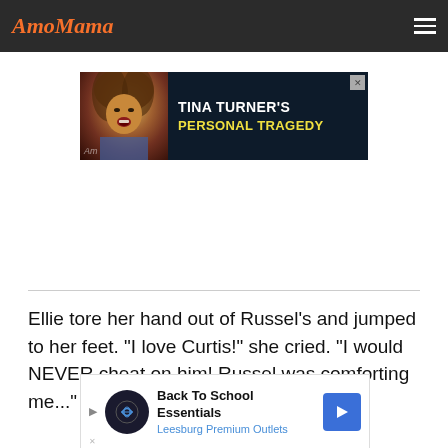AmoMama
[Figure (screenshot): Advertisement banner for Tina Turner's Personal Tragedy article on AmoMama, showing Tina Turner photo on dark navy background with text 'TINA TURNER'S PERSONAL TRAGEDY' in white and yellow]
Ellie tore her hand out of Russel's and jumped to her feet. "I love Curtis!" she cried. "I would NEVER cheat on him! Russel was comforting me..."
[Figure (screenshot): Advertisement banner at bottom for Back To School Essentials at Leesburg Premium Outlets, with dark circular logo icon and blue navigation arrow]